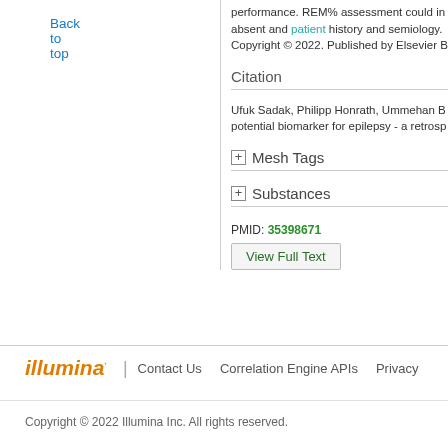Back to top
performance. REM% assessment could in absent and patient history and semiology. Copyright © 2022. Published by Elsevier B
Citation
Ufuk Sadak, Philipp Honrath, Ummehan B potential biomarker for epilepsy - a retrosp
Mesh Tags
Substances
PMID: 35398671
View Full Text
illumina  |  Contact Us  Correlation Engine APIs  Privacy
Copyright © 2022 Illumina Inc. All rights reserved.